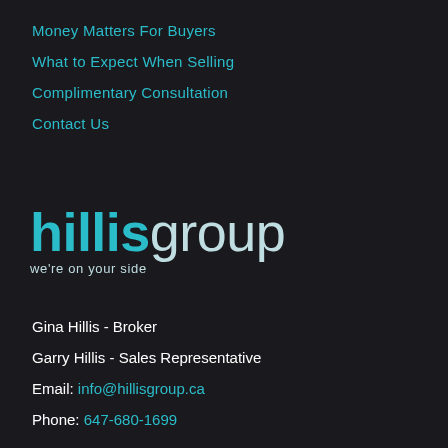Money Matters For Buyers
What to Expect When Selling
Complimentary Consultation
Contact Us
[Figure (logo): Hillis Group logo with 'hillisgroup' in teal and light blue, tagline 'we're on your side']
Gina Hillis - Broker
Garry Hillis - Sales Representative
Email: info@hillisgroup.ca
Phone: 647-680-1699